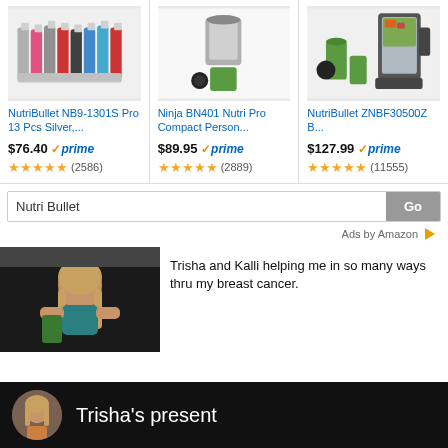[Figure (screenshot): Amazon product listing screenshot showing three blenders with prices, ratings, and Prime badges. Products: NutriBullet NB9-1301S Pro 13 Pcs Silver ($76.40, 2586 reviews), Ninja BN401 Nutri Pro Compact Person ($89.95, 2889 reviews), NutriBullet ZNBF30500Z B ($127.99, 11555 reviews). Below is a search bar with 'Nutri Bullet' text and a Go button. An 'Ads by Amazon' label is shown. Below is a video thumbnail of a woman with text: 'Trisha and Kalli helping me in so many ways thru my breast cancer.' A bottom banner shows a circular avatar and 'Trisha's present' in white text on black background.]